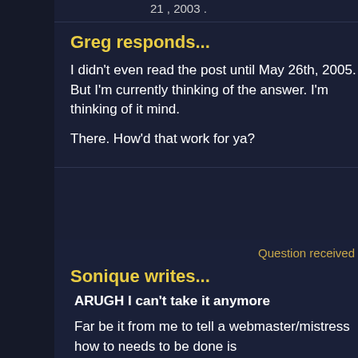21 , 2003 .
Greg responds...
I didn't even read the post until May 26th, 2005. But currently thinking of the answer. I'm thinking of it mind.
There. How'd that work for ya?
Question received
Sonique writes...
ARUGH I can't take it anymore
Far be it from me to tell a webmaster/mistress how to needs to be done is
1. Someone has to go through all those questions and all ready answered
2. Someone has to go through and take out all the cr